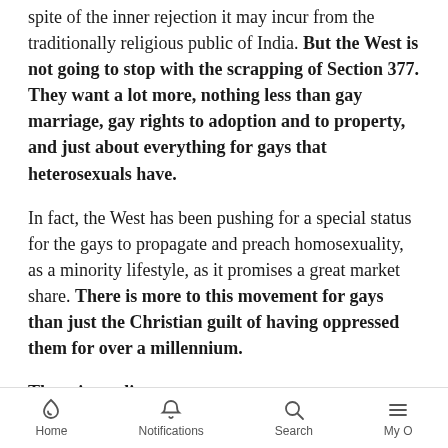spite of the inner rejection it may incur from the traditionally religious public of India. But the West is not going to stop with the scrapping of Section 377. They want a lot more, nothing less than gay marriage, gay rights to adoption and to property, and just about everything for gays that heterosexuals have.
In fact, the West has been pushing for a special status for the gays to propagate and preach homosexuality, as a minority lifestyle, as it promises a great market share. There is more to this movement for gays than just the Christian guilt of having oppressed them for over a millennium.
There is not li...
Home | Notifications | Search | My O